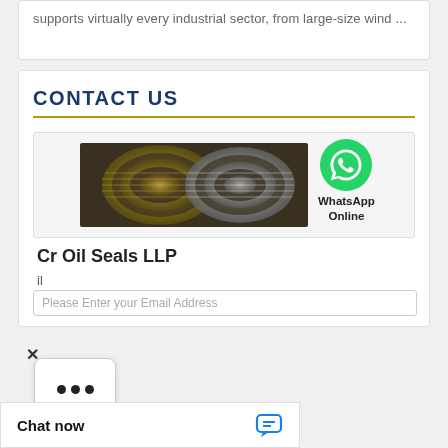supports virtually every industrial sector, from large-size wind ...
CONTACT US
[Figure (photo): Close-up photograph of metallic oil seal rings with reflective gold/silver surface and concentric grooves]
[Figure (logo): WhatsApp green circular logo with phone handset icon, labeled 'WhatsApp Online']
Cr Oil Seals LLP
il
Please Enter your Email Address
Chat now